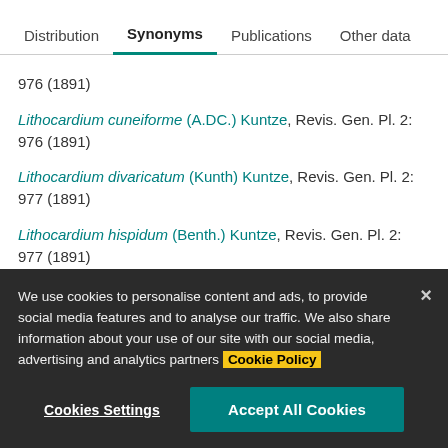Distribution | Synonyms | Publications | Other data
976 (1891)
Lithocardium cuneiforme (A.DC.) Kuntze, Revis. Gen. Pl. 2: 976 (1891)
Lithocardium divaricatum (Kunth) Kuntze, Revis. Gen. Pl. 2: 977 (1891)
Lithocardium hispidum (Benth.) Kuntze, Revis. Gen. Pl. 2: 977 (1891)
Lithocardium lineare (A.DC.) Kuntze, Revis. Gen. Pl. 2: 977
We use cookies to personalise content and ads, to provide social media features and to analyse our traffic. We also share information about your use of our site with our social media, advertising and analytics partners Cookie Policy
Cookies Settings
Accept All Cookies